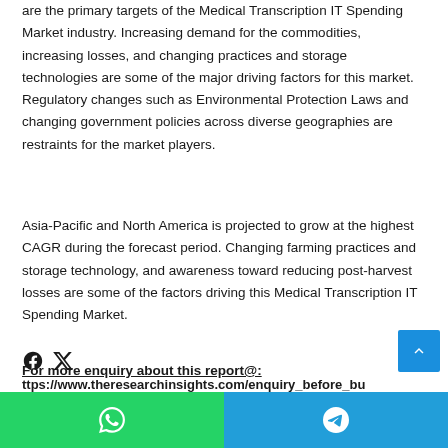are the primary targets of the Medical Transcription IT Spending Market industry. Increasing demand for the commodities, increasing losses, and changing practices and storage technologies are some of the major driving factors for this market. Regulatory changes such as Environmental Protection Laws and changing government policies across diverse geographies are restraints for the market players.
Asia-Pacific and North America is projected to grow at the highest CAGR during the forecast period. Changing farming practices and storage technology, and awareness toward reducing post-harvest losses are some of the factors driving this Medical Transcription IT Spending Market.
For more enquiry about this report@:
https://www.theresearchinsights.com/enquiry_before_bu...